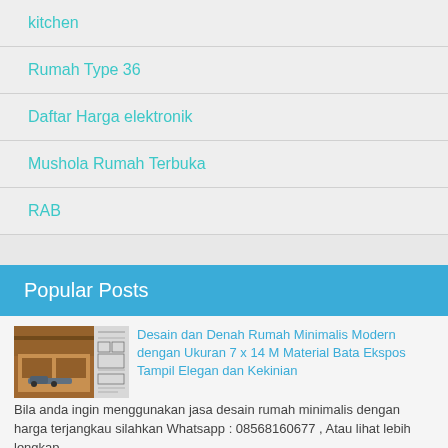kitchen
Rumah Type 36
Daftar Harga elektronik
Mushola Rumah Terbuka
RAB
Popular Posts
[Figure (photo): Two thumbnail images: a modern minimalist house exterior and a floor plan blueprint]
Desain dan Denah Rumah Minimalis Modern dengan Ukuran 7 x 14 M Material Bata Ekspos Tampil Elegan dan Kekinian
Bila anda ingin menggunakan jasa desain rumah minimalis dengan harga terjangkau silahkan Whatsapp : 08568160677 , Atau lihat lebih lengkap ...